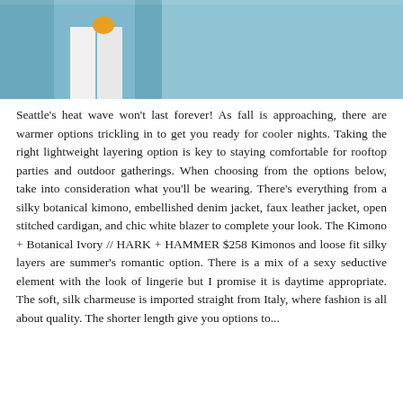[Figure (photo): Partial photo of a person wearing white pants against a light blue background, cropped at the top of the page.]
Seattle's heat wave won't last forever! As fall is approaching, there are warmer options trickling in to get you ready for cooler nights. Taking the right lightweight layering option is key to staying comfortable for rooftop parties and outdoor gatherings. When choosing from the options below, take into consideration what you'll be wearing. There's everything from a silky botanical kimono, embellished denim jacket, faux leather jacket, open stitched cardigan, and chic white blazer to complete your look. The Kimono + Botanical Ivory // HARK + HAMMER $258 Kimonos and loose fit silky layers are summer's romantic option. There is a mix of a sexy seductive element with the look of lingerie but I promise it is daytime appropriate. The soft, silk charmeuse is imported straight from Italy, where fashion is all about quality. The shorter length give you options to...